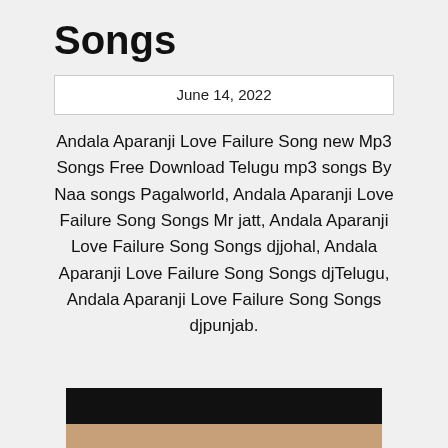Songs
June 14, 2022
Andala Aparanji Love Failure Song new Mp3 Songs Free Download Telugu mp3 songs By Naa songs Pagalworld, Andala Aparanji Love Failure Song Songs Mr jatt, Andala Aparanji Love Failure Song Songs djjohal, Andala Aparanji Love Failure Song Songs djTelugu, Andala Aparanji Love Failure Song Songs djpunjab.
[Figure (photo): A dark/black banner at the top with a colorful image below showing people, likely a movie or music promotional image.]